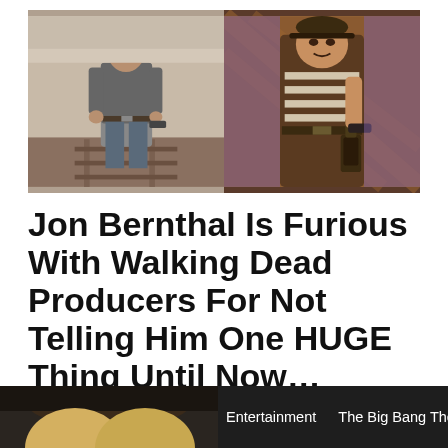[Figure (photo): Two side-by-side images: left shows a live-action photo of a man in jeans and jacket on a railway track; right shows a comic book illustration of a character holding a gun.]
Jon Bernthal Is Furious With Walking Dead Producers For Not Telling Him One HUGE Thing Until Now…
4Rick Reveals Shane Is The Father Of Judith…The Walking Dead |…
monday · March 16, 2017
[Figure (photo): Bottom strip: left half shows a partial photo of a person (face partially visible); right half shows dark background with text tags 'Entertainment' and 'The Big Bang Theory'.]